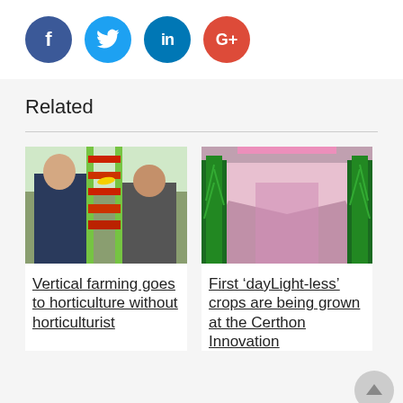[Figure (infographic): Row of four social media share buttons: Facebook (dark blue circle with 'f'), Twitter (light blue circle with bird icon), LinkedIn (blue circle with 'in'), Google+ (red circle with 'G+')]
Related
[Figure (photo): Photo of two men looking at shelves of tomatoes and fruit in a vertical farming display with green-framed multi-tier rack]
Vertical farming goes to horticulture without horticulturist
[Figure (photo): Photo of a long greenhouse corridor with tall tomato plants growing under pink LED lighting at Certhon Innovation]
First ‘daylight-less’ crops are being grown at the Certhon Innovation